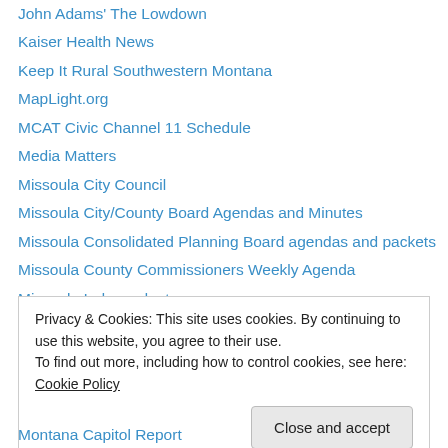John Adams' The Lowdown
Kaiser Health News
Keep It Rural Southwestern Montana
MapLight.org
MCAT Civic Channel 11 Schedule
Media Matters
Missoula City Council
Missoula City/County Board Agendas and Minutes
Missoula Consolidated Planning Board agendas and packets
Missoula County Commissioners Weekly Agenda
Missoula Independent
Missoula Institute for Sustainable Transportation
Missoula Neighborhoods
Privacy & Cookies: This site uses cookies. By continuing to use this website, you agree to their use. To find out more, including how to control cookies, see here: Cookie Policy
Montana Capitol Report